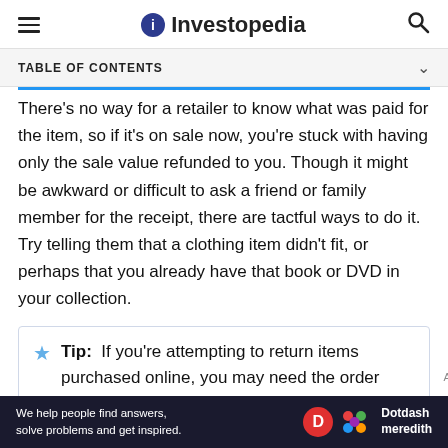Investopedia
TABLE OF CONTENTS
There's no way for a retailer to know what was paid for the item, so if it's on sale now, you're stuck with having only the sale value refunded to you. Though it might be awkward or difficult to ask a friend or family member for the receipt, there are tactful ways to do it. Try telling them that a clothing item didn't fit, or perhaps that you already have that book or DVD in your collection.
Tip: If you're attempting to return items purchased online, you may need the order number or reference number included on
[Figure (other): Dotdash Meredith advertisement banner at the bottom of the page]